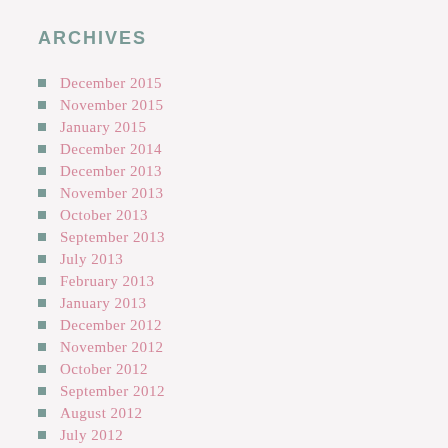ARCHIVES
December 2015
November 2015
January 2015
December 2014
December 2013
November 2013
October 2013
September 2013
July 2013
February 2013
January 2013
December 2012
November 2012
October 2012
September 2012
August 2012
July 2012
June 2012